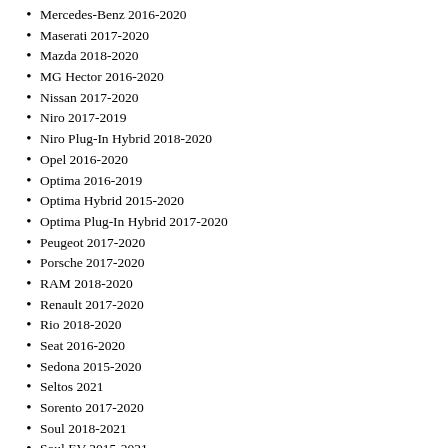Mercedes-Benz 2016-2020
Maserati 2017-2020
Mazda 2018-2020
MG Hector 2016-2020
Nissan 2017-2020
Niro 2017-2019
Niro Plug-In Hybrid 2018-2020
Opel 2016-2020
Optima 2016-2019
Optima Hybrid 2015-2020
Optima Plug-In Hybrid 2017-2020
Peugeot 2017-2020
Porsche 2017-2020
RAM 2018-2020
Renault 2017-2020
Rio 2018-2020
Seat 2016-2020
Sedona 2015-2020
Seltos 2021
Sorento 2017-2020
Soul 2018-2021
Soul EV 2015-2021
Stinger 2018-2020
Sportage 2016-2021
Skoda 2016-2020